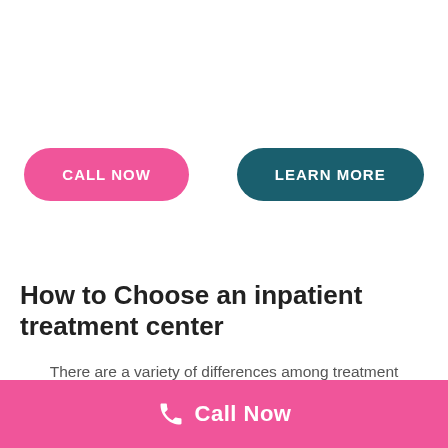[Figure (other): Two call-to-action buttons: pink 'CALL NOW' button on the left and teal 'LEARN MORE' button on the right]
How to Choose an inpatient treatment center
There are a variety of differences among treatment programs. It is therefore important to ask the right questions in order to find the treatment program that is most suitable. The first thing to ask is what type of addiction the program treats. It helps to find a center that
Call Now